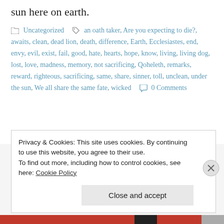sun here on earth.
Uncategorized   an oath taker, Are you expecting to die?, awaits, clean, dead lion, death, difference, Earth, Ecclesiastes, end, envy, evil, exist, fail, good, hate, hearts, hope, know, living, living dog, lost, love, madness, memory, not sacrificing, Qoheleth, remarks, reward, righteous, sacrificing, same, share, sinner, toll, unclean, under the sun, We all share the same fate, wicked   0 Comments
Privacy & Cookies: This site uses cookies. By continuing to use this website, you agree to their use.
To find out more, including how to control cookies, see here: Cookie Policy
Close and accept